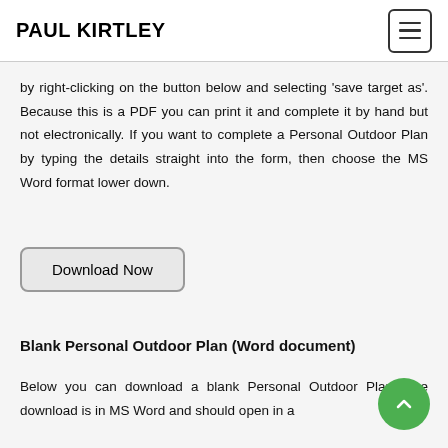PAUL KIRTLEY
by right-clicking on the button below and selecting 'save target as'. Because this is a PDF you can print it and complete it by hand but not electronically. If you want to complete a Personal Outdoor Plan by typing the details straight into the form, then choose the MS Word format lower down.
[Figure (other): Download Now button — a rounded rectangle button with label 'Download Now']
Blank Personal Outdoor Plan (Word document)
Below you can download a blank Personal Outdoor Plan. The download is in MS Word and should open in a